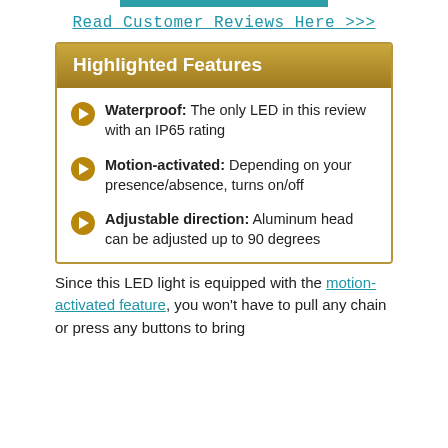[Figure (other): Teal horizontal bar at top]
Read Customer Reviews Here >>>
Highlighted Features
Waterproof: The only LED in this review with an IP65 rating
Motion-activated: Depending on your presence/absence, turns on/off
Adjustable direction: Aluminum head can be adjusted up to 90 degrees
Since this LED light is equipped with the motion-activated feature, you won't have to pull any chain or press any buttons to bring